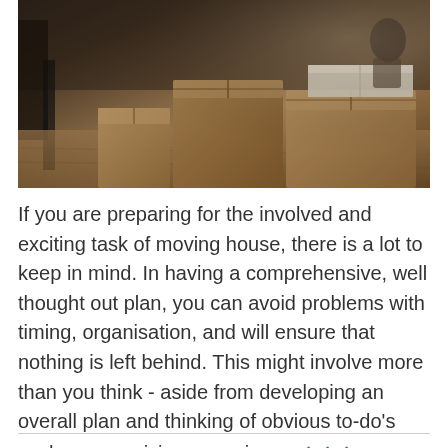[Figure (photo): Photo of cardboard moving boxes in a room with wooden floor and a person in the background writing or looking at something on one of the boxes. Warm brown tones.]
If you are preparing for the involved and exciting task of moving house, there is a lot to keep in mind. In having a comprehensive, well thought out plan, you can avoid problems with timing, organisation, and will ensure that nothing is left behind. This might involve more than you think - aside from developing an overall plan and thinking of obvious to-do's such as organising a moving... >>>